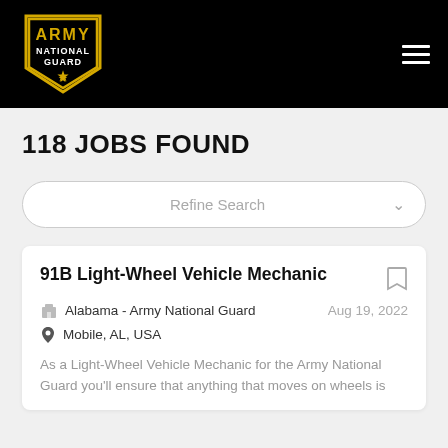Army National Guard
118 JOBS FOUND
Refine Search
91B Light-Wheel Vehicle Mechanic
Alabama - Army National Guard
Mobile, AL, USA
Aug 19, 2022
As a Light-Wheel Vehicle Mechanic for the Army National Guard you’ll ensure that anything that moves on wheels is